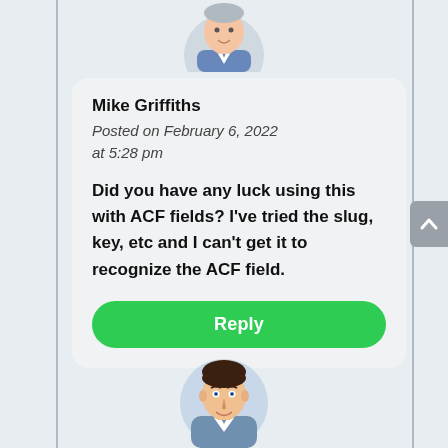[Figure (illustration): Partial cartoon avatar of a person in a collared shirt, cropped at top of page]
Mike Griffiths
Posted on February 6, 2022 at 5:28 pm
Did you have any luck using this with ACF fields? I've tried the slug, key, etc and I can't get it to recognize the ACF field.
Reply
[Figure (illustration): Cartoon avatar of a man with dark hair, partially visible at bottom of page]